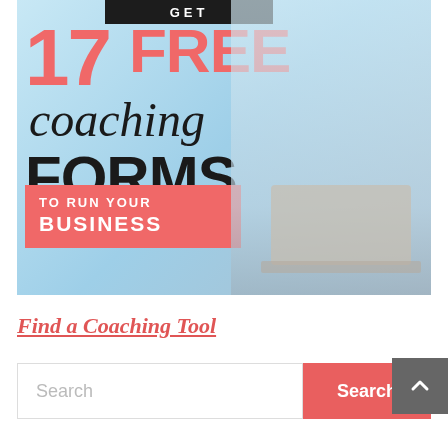[Figure (illustration): Promotional banner ad showing a woman with a hat using a laptop, with text overlay reading 'GET 17 FREE coaching FORMS TO RUN YOUR BUSINESS' in red and black on a light blue background.]
Find a Coaching Tool
Search